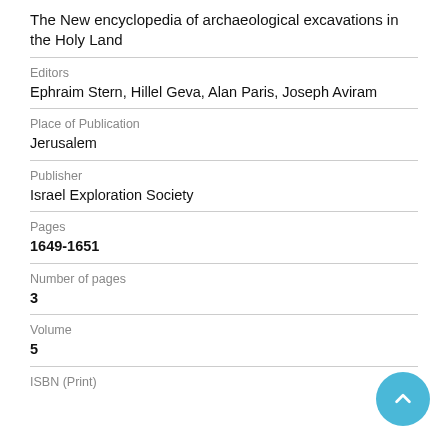The New encyclopedia of archaeological excavations in the Holy Land
Editors
Ephraim Stern, Hillel Geva, Alan Paris, Joseph Aviram
Place of Publication
Jerusalem
Publisher
Israel Exploration Society
Pages
1649-1651
Number of pages
3
Volume
5
ISBN (Print)